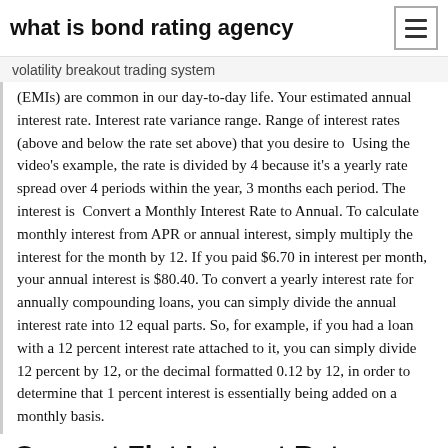what is bond rating agency
volatility breakout trading system
(EMIs) are common in our day-to-day life. Your estimated annual interest rate. Interest rate variance range. Range of interest rates (above and below the rate set above) that you desire to  Using the video's example, the rate is divided by 4 because it's a yearly rate spread over 4 periods within the year, 3 months each period. The interest is  Convert a Monthly Interest Rate to Annual. To calculate monthly interest from APR or annual interest, simply multiply the interest for the month by 12. If you paid $6.70 in interest per month, your annual interest is $80.40. To convert a yearly interest rate for annually compounding loans, you can simply divide the annual interest rate into 12 equal parts. So, for example, if you had a loan with a 12 percent interest rate attached to it, you can simply divide 12 percent by 12, or the decimal formatted 0.12 by 12, in order to determine that 1 percent interest is essentially being added on a monthly basis.
Convert Flat Interest Rate (a.k...